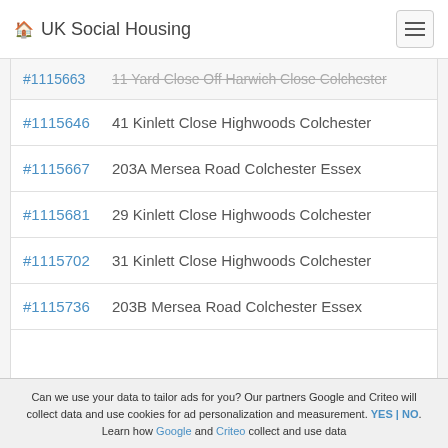UK Social Housing
#1115663  11 Yard Close Off Harwich Close Colchester
#1115646  41 Kinlett Close Highwoods Colchester
#1115667  203A Mersea Road Colchester Essex
#1115681  29 Kinlett Close Highwoods Colchester
#1115702  31 Kinlett Close Highwoods Colchester
#1115736  203B Mersea Road Colchester Essex
Can we use your data to tailor ads for you? Our partners Google and Criteo will collect data and use cookies for ad personalization and measurement. YES | NO. Learn how Google and Criteo collect and use data